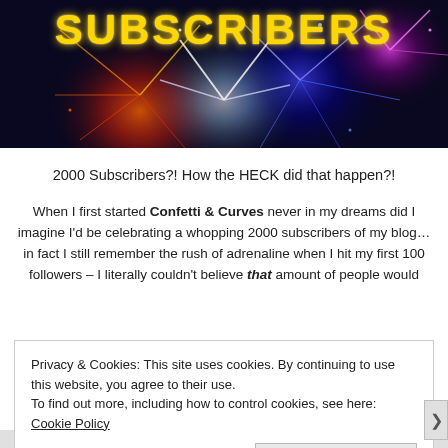[Figure (photo): Fireworks photo banner with 'SUBSCRIBERS' text overlay in yellow dotted/marquee-style lettering on dark background with colorful fireworks explosion]
2000 Subscribers?! How the HECK did that happen?!
When I first started Confetti & Curves never in my dreams did I imagine I'd be celebrating a whopping 2000 subscribers of my blog… in fact I still remember the rush of adrenaline when I hit my first 100 followers – I literally couldn't believe that amount of people would
Privacy & Cookies: This site uses cookies. By continuing to use this website, you agree to their use.
To find out more, including how to control cookies, see here: Cookie Policy
Close and accept